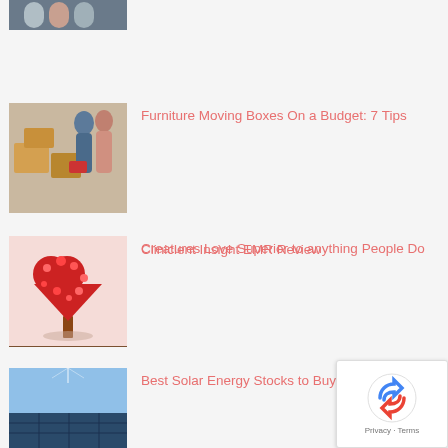[Figure (photo): Partially visible thumbnail at top of page showing a group of people]
[Figure (photo): People packing boxes for moving]
Furniture Moving Boxes On a Budget: 7 Tips
[Figure (photo): Laptop on a wooden desk with coffee cup]
Clinicient Insight EMR Review
[Figure (photo): Red heart-shaped tree made of flowers on pink background]
Creatures Love Superior to anything People Do
[Figure (photo): Solar panels against sky]
Best Solar Energy Stocks to Buy No
[Figure (other): Google reCAPTCHA badge with privacy and terms text]